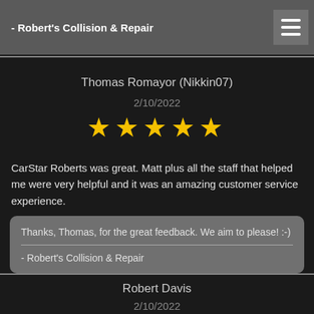- Robert's Collision & Repair
Thomas Romayor (Nikkin07)
2/10/2022
[Figure (other): Five yellow star rating]
CarStar Roberts was great. Matt plus all the staff that helped me were very helpful and it was an amazing customer service experience.
Thanks, Thomas, for the great feedback. We aim to please! :-)
- Robert's Collision & Repair
Robert Davis
2/10/2022